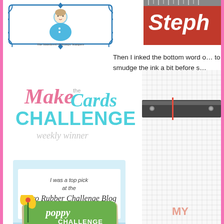[Figure (logo): Queen of Snowy Stamps badge with woman in blue shirt, ornate border frame and text 'The Sisterhood of Stampy Stampers']
Then I inked the bottom word o... to smudge the ink a bit before s...
[Figure (logo): Steph - partially visible red and white logo/badge in top right corner]
[Figure (logo): Make the Cards Challenge weekly winner badge - pink cursive 'Make', teal 'the Cards', bold teal 'CHALLENGE', grey italic 'weekly winner']
[Figure (logo): Retro Rubber Challenge Blog badge - light blue background, 'I was a top pick at the Retro Rubber Challenge Blog' with website URL]
[Figure (photo): Craft cutting tool/trimmer on graph paper mat with 'MY' text visible, red accent]
[Figure (logo): Poppy Challenge badge - green rounded rectangle with 'poppy CHALLENGE' text, yellow poppy flower illustration]